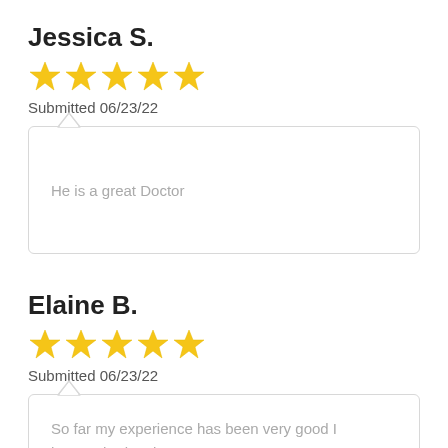Jessica S.
[Figure (other): 5 yellow stars rating]
Submitted 06/23/22
He is a great Doctor
Elaine B.
[Figure (other): 5 yellow stars rating]
Submitted 06/23/22
So far my experience has been very good I haven't had an issue yet